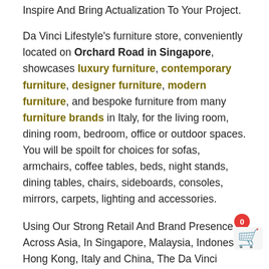Inspire And Bring Actualization To Your Project.
Da Vinci Lifestyle's furniture store, conveniently located on Orchard Road in Singapore, showcases luxury furniture, contemporary furniture, designer furniture, modern furniture, and bespoke furniture from many furniture brands in Italy, for the living room, dining room, bedroom, office or outdoor spaces. You will be spoilt for choices for sofas, armchairs, coffee tables, beds, night stands, dining tables, chairs, sideboards, consoles, mirrors, carpets, lighting and accessories.
Using Our Strong Retail And Brand Presence Across Asia, In Singapore, Malaysia, Indonesia, Hong Kong, Italy and China, The Da Vinci Group Harnesses Its Strength As A Buying Powerhouse To Offer The Most Competitive Prices To Our Clients.